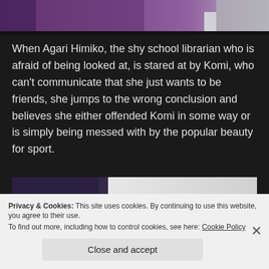[Figure (illustration): Top portion of an anime screenshot showing a purple-toned scene, partially cropped at bottom]
When Agari Himiko, the shy school librarian who is afraid of being looked at, is stared at by Komi, who can't communicate that she just wants to be friends, she jumps to the wrong conclusion and believes she either offended Komi in some way or is simply being messed with by the popular beauty for sport.
[Figure (illustration): Bottom anime screenshot showing characters including one with green spiky hair and a book with a sparkle effect, partially obscured by cookie banner]
Privacy & Cookies: This site uses cookies. By continuing to use this website, you agree to their use.
To find out more, including how to control cookies, see here: Cookie Policy
Close and accept